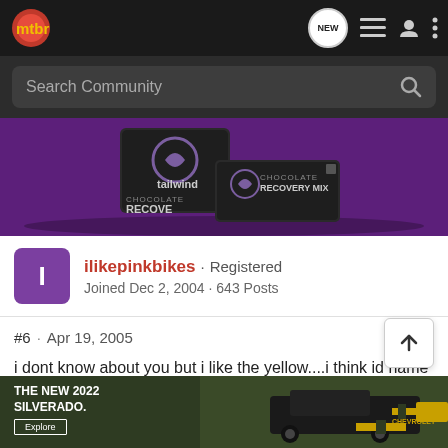mtbr · NEW
Search Community
[Figure (photo): Tailwind nutrition recovery mix product packages on purple background]
ilikepinkbikes · Registered
Joined Dec 2, 2004 · 643 Posts
#6 · Apr 19, 2005
i dont know about you but i like the yellow....i think id name it golden boy after i got it...kinda like my K2
[Figure (photo): Chevrolet advertisement: THE NEW 2022 SILVERADO. Explore button. Chevrolet logo. Truck on road.]